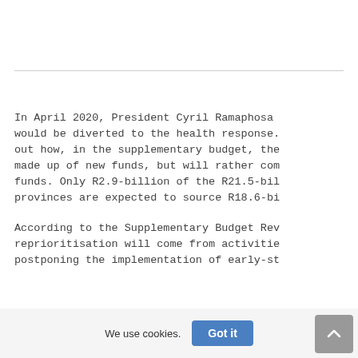In April 2020, President Cyril Ramaphosa would be diverted to the health response. out how, in the supplementary budget, the made up of new funds, but will rather com funds. Only R2.9-billion of the R21.5-bil provinces are expected to source R18.6-bi
According to the Supplementary Budget Rev reprioritisation will come from activitie postponing the implementation of early-st
We use cookies.